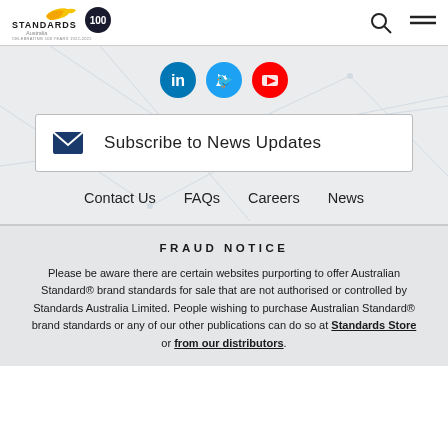Standards Australia 100 - Celebrating 100 Years 1922-2022
[Figure (logo): Standards Australia 100 years logo with yellow/gold bird icon]
[Figure (infographic): Social media icons: LinkedIn (blue), Twitter (light blue), YouTube (red)]
Subscribe to News Updates
Contact Us
FAQs
Careers
News
FRAUD NOTICE
Please be aware there are certain websites purporting to offer Australian Standard® brand standards for sale that are not authorised or controlled by Standards Australia Limited. People wishing to purchase Australian Standard® brand standards or any of our other publications can do so at Standards Store or from our distributors.